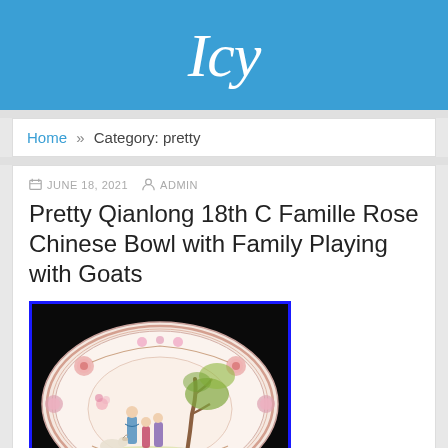Icy
Home » Category: pretty
JUNE 18, 2021  ADMIN
Pretty Qianlong 18th C Famille Rose Chinese Bowl with Family Playing with Goats
[Figure (photo): A Qianlong 18th century Famille Rose Chinese bowl with decorative scenes of a family playing with goats, viewed from above showing the interior. The bowl has a white/pale pink background with colorful painted figures, trees, and floral motifs around the rim.]